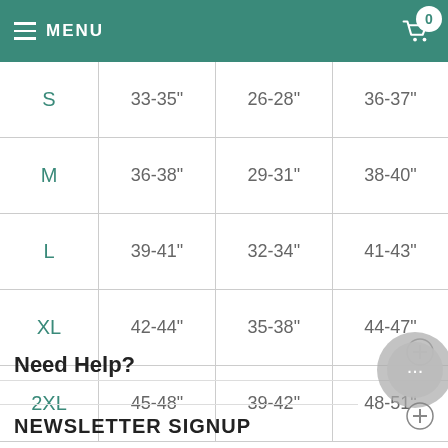MENU
| S | 33-35" | 26-28" | 36-37" |
| M | 36-38" | 29-31" | 38-40" |
| L | 39-41" | 32-34" | 41-43" |
| XL | 42-44" | 35-38" | 44-47" |
| 2XL | 45-48" | 39-42" | 48-51" |
Need Help?
NEWSLETTER SIGNUP